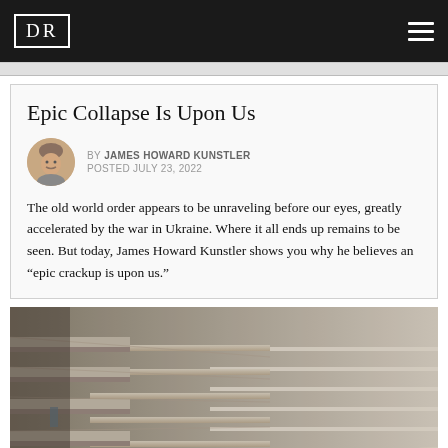DR
Epic Collapse Is Upon Us
BY JAMES HOWARD KUNSTLER
POSTED JULY 23, 2022
The old world order appears to be unraveling before our eyes, greatly accelerated by the war in Ukraine. Where it all ends up remains to be seen. But today, James Howard Kunstler shows you why he believes an “epic crackup is upon us.”
[Figure (photo): Empty store shelves viewed from a low angle, conveying shortages. Beige/tan empty shelving units recede into the distance in a blurred perspective.]